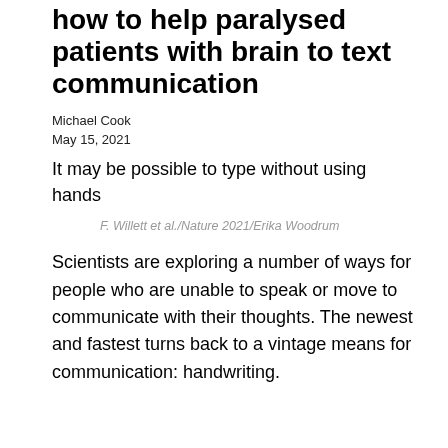how to help paralysed patients with brain to text communication
Michael Cook
May 15, 2021
It may be possible to type without using hands
F. Willett et al./Nature 2021/Erika Woodrum
Scientists are exploring a number of ways for people who are unable to speak or move to communicate with their thoughts. The newest and fastest turns back to a vintage means for communication: handwriting.